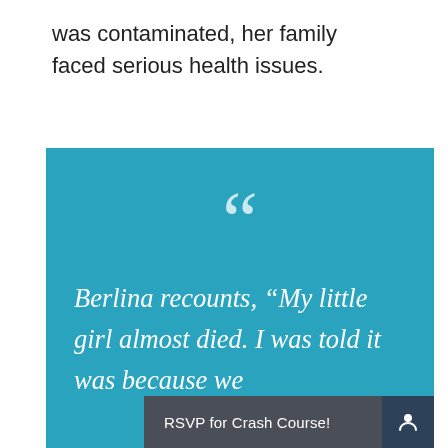was contaminated, her family faced serious health issues.
[Figure (illustration): Teal/blue quote box with large opening quotation mark and italic white text reading: Berlina recounts, "My little girl almost died. I was told it was because we" (text cut off). An RSVP bar overlay reads 'RSVP for Crash Course!' with a user icon.]